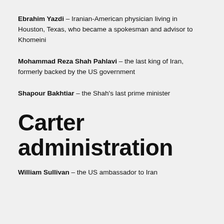Ebrahim Yazdi – Iranian-American physician living in Houston, Texas, who became a spokesman and advisor to Khomeini
Mohammad Reza Shah Pahlavi – the last king of Iran, formerly backed by the US government
Shapour Bakhtiar – the Shah's last prime minister
Carter administration
William Sullivan – the US ambassador to Iran